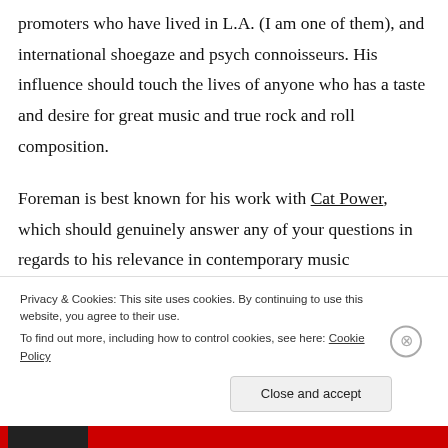promoters who have lived in L.A. (I am one of them), and international shoegaze and psych connoisseurs. His influence should touch the lives of anyone who has a taste and desire for great music and true rock and roll composition.
Foreman is best known for his work with Cat Power, which should genuinely answer any of your questions in regards to his relevance in contemporary music history, but again, take some time to learn a bit more
Privacy & Cookies: This site uses cookies. By continuing to use this website, you agree to their use.
To find out more, including how to control cookies, see here: Cookie Policy
Close and accept